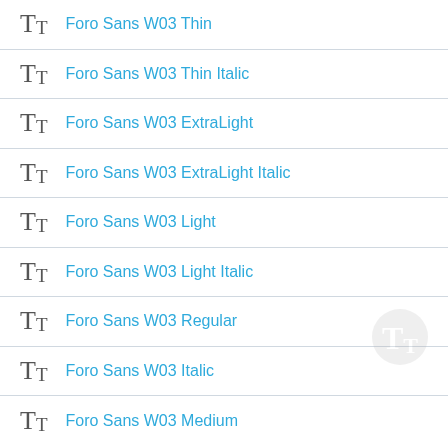Foro Sans W03 Thin
Foro Sans W03 Thin Italic
Foro Sans W03 ExtraLight
Foro Sans W03 ExtraLight Italic
Foro Sans W03 Light
Foro Sans W03 Light Italic
Foro Sans W03 Regular
Foro Sans W03 Italic
Foro Sans W03 Medium